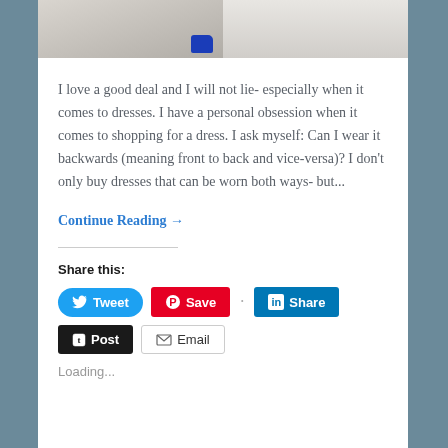[Figure (photo): Partial photo strip showing what appears to be a flat-lay with clothing/fabric (left half) and a marble-like surface (right half), with a blue object visible in the left portion]
I love a good deal and I will not lie- especially when it comes to dresses. I have a personal obsession when it comes to shopping for a dress. I ask myself: Can I wear it backwards (meaning front to back and vice-versa)? I don't only buy dresses that can be worn both ways- but...
Continue Reading →
Share this:
Tweet  Save  Share  Post  Email
Loading...